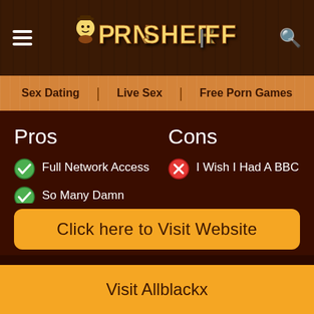Porn Sheriff
Sex Dating | Live Sex | Free Porn Games
Pros
Full Network Access
So Many Damn Curves
Delicious Pussy Drilling
Cons
I Wish I Had A BBC
Click here to Visit Website
Visit Allblackx